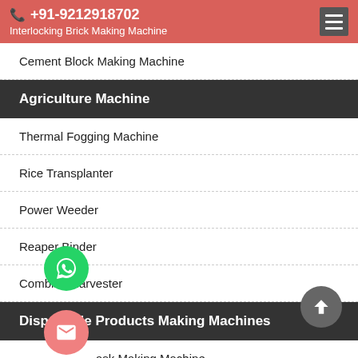+91-9212918702 | Interlocking Brick Making Machine
Cement Block Making Machine
Agriculture Machine
Thermal Fogging Machine
Rice Transplanter
Power Weeder
Reaper Binder
Combine Harvester
Disposable Products Making Machines
Mask Making Machine
Sanitary Napkin Making Machine
Adult Diaper Making Machine
Non-Woven Shoe Cover Making Machine